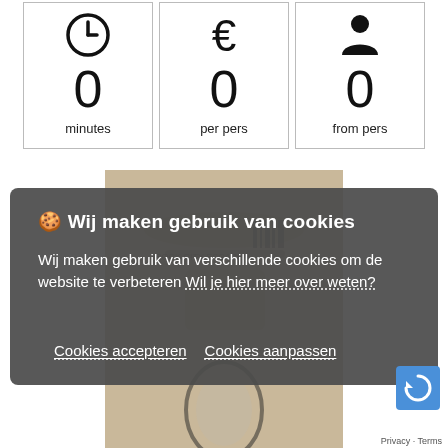[Figure (infographic): Three stat boxes showing icons and values: clock icon with 0 minutes, euro sign with 0 per pers, person icon with 0 from pers]
[Figure (photo): Background photo of escape room props and items, partially visible behind cookie consent overlay]
🍪 Wij maken gebruik van cookies
Wij maken gebruik van verschillende cookies om de website te verbeteren Wil je hier meer over weten?
Cookies accepteren   Cookies aanpassen
Privacy - Terms